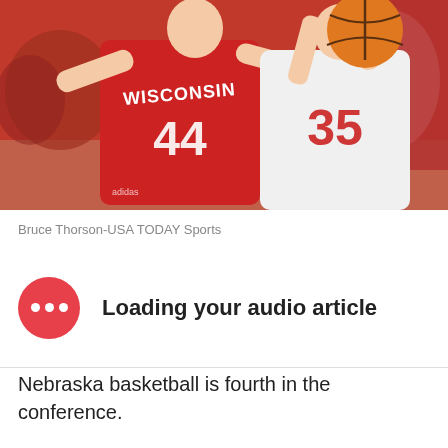[Figure (photo): Basketball game action photo showing a Wisconsin player #44 defending against a Nebraska player #35 who is holding the ball overhead. Players wearing red Wisconsin jerseys and white Nebraska uniforms.]
Bruce Thorson-USA TODAY Sports
Loading your audio article
Nebraska basketball is fourth in the conference.